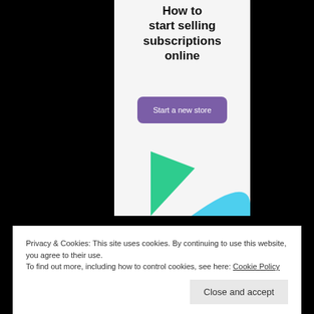How to start selling subscriptions online
[Figure (illustration): Purple button labeled 'Start a new store' on a light gray background]
[Figure (illustration): Decorative green and cyan/blue geometric triangle shapes on light gray background]
Privacy & Cookies: This site uses cookies. By continuing to use this website, you agree to their use.
To find out more, including how to control cookies, see here: Cookie Policy
Close and accept